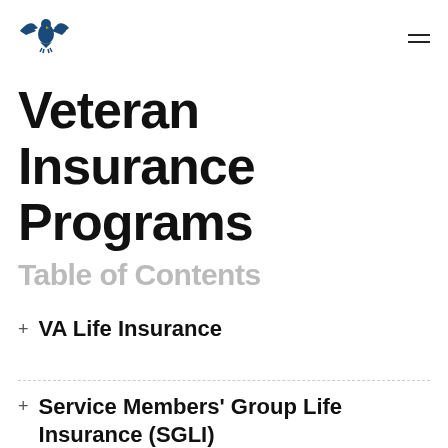[Figure (logo): Blue eagle/bird logo for VA (Department of Veterans Affairs)]
Veteran Insurance Programs
Table of Contents
VA Life Insurance
Service Members' Group Life Insurance (SGLI)